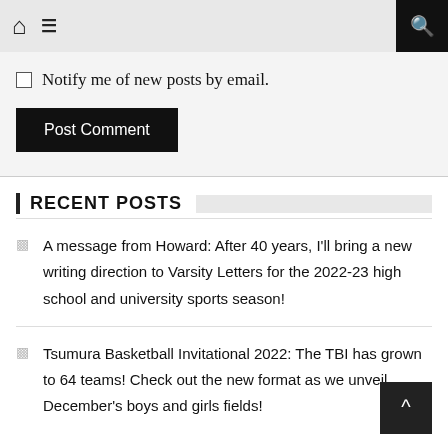Home | Menu | Search
Notify me of new posts by email.
Post Comment
RECENT POSTS
A message from Howard: After 40 years, I'll bring a new writing direction to Varsity Letters for the 2022-23 high school and university sports season!
Tsumura Basketball Invitational 2022: The TBI has grown to 64 teams! Check out the new format as we unveil December's boys and girls fields!